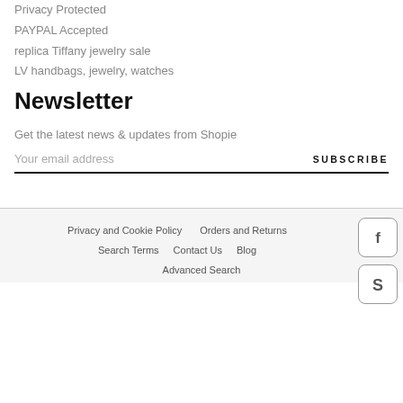Privacy Protected
PAYPAL Accepted
replica Tiffany jewelry sale
LV handbags, jewelry, watches
Newsletter
Get the latest news & updates from Shopie
Your email address
SUBSCRIBE
Privacy and Cookie Policy   Orders and Returns   Search Terms   Contact Us   Blog   Advanced Search